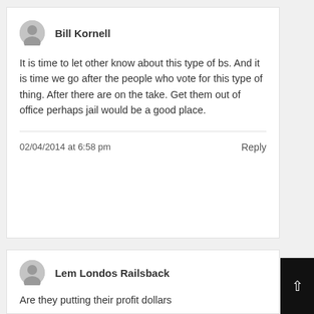Bill Kornell
It is time to let other know about this type of bs. And it is time we go after the people who vote for this type of thing. After there are on the take. Get them out of office perhaps jail would be a good place.
02/04/2014 at 6:58 pm
Reply
Lem Londos Railsback
Are they putting their profit dollars